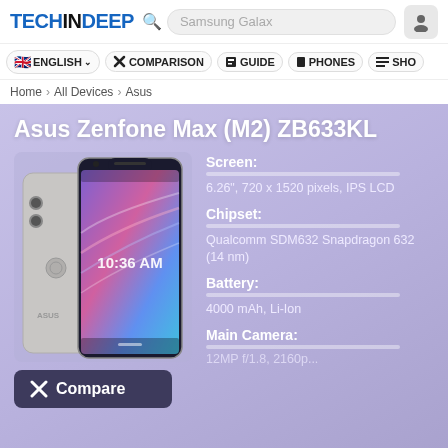TECHINDEEP  Samsung Galax [search]
🇬🇧 ENGLISH ∨  ✕ COMPARISON  ▪ GUIDE  ▪ PHONES  ≡ SHO
Home › All Devices › Asus
Asus Zenfone Max (M2) ZB633KL
[Figure (photo): Asus Zenfone Max (M2) ZB633KL smartphone shown front and back, silver color, with notch display showing 10:36 AM]
Screen:
6.26", 720 x 1520 pixels, IPS LCD
Chipset:
Qualcomm SDM632 Snapdragon 632 (14 nm)
Battery:
4000 mAh, Li-Ion
Main Camera:
Compare